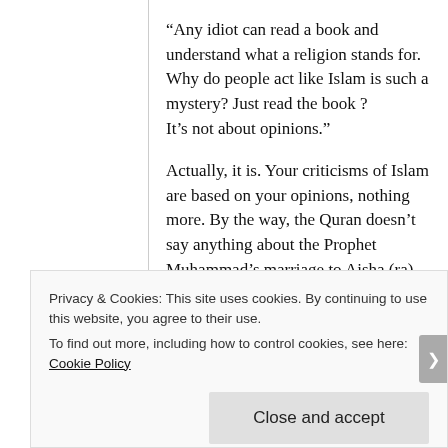“Any idiot can read a book and understand what a religion stands for.
Why do people act like Islam is such a mystery? Just read the book ?
It’s not about opinions.”
Actually, it is. Your criticisms of Islam are based on your opinions, nothing more. By the way, the Quran doesn’t say anything about the Prophet Muhammad’s marriage to Aisha (ra). That’s the Hadiths. I don’t think you know the difference.
The fact is that there is no reason to apply your modern sensitivities to what the Prophet did 1400 years ago. It was a different time. As far as marriage
Privacy & Cookies: This site uses cookies. By continuing to use this website, you agree to their use.
To find out more, including how to control cookies, see here: Cookie Policy
Close and accept